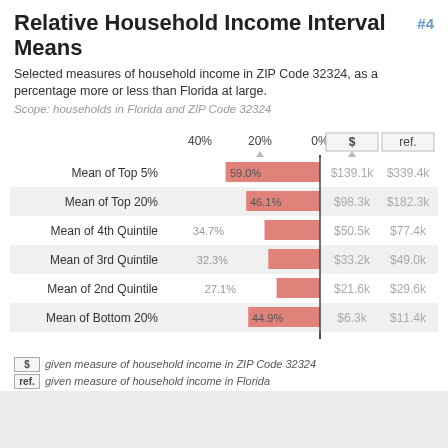Relative Household Income Interval Means #4
Selected measures of household income in ZIP Code 32324, as a percentage more or less than Florida at large.
Scope: households in Florida and ZIP Code 32324
[Figure (bar-chart): Relative Household Income Interval Means]
$ given measure of household income in ZIP Code 32324
ref. given measure of household income in Florida